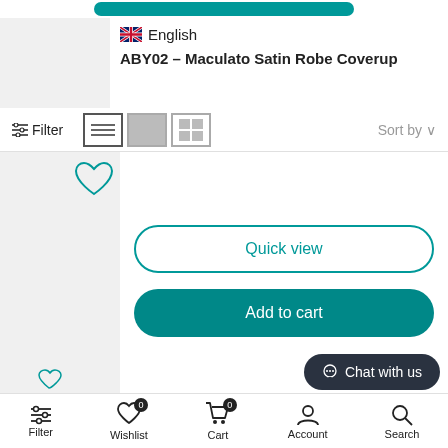[Figure (screenshot): Top teal button remnant]
English (flag icon)
ABY02 - Maculato Satin Robe Coverup
Filter | Sort by view icons
[Figure (screenshot): Product image placeholder with wishlist heart icon]
Quick view
Add to cart
AIKO - Chiffon Long Pareo Skirt
Dhs. 580.00
Chat with us
Filter | Wishlist 0 | Cart 0 | Account | Search